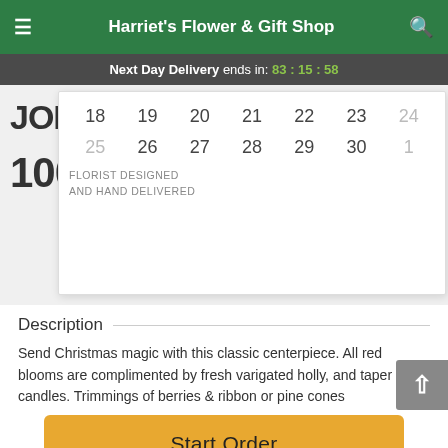Harriet's Flower & Gift Shop
Next Day Delivery ends in: 83:15:58
[Figure (screenshot): Partial view of a promotional join/100% panel on the left, with a calendar overlay showing dates 18-24 and 25-30, 1, plus FLORIST DESIGNED AND HAND DELIVERED text]
Description
Send Christmas magic with this classic centerpiece. All red blooms are complimented by fresh varigated holly, and taper candles. Trimmings of berries & ribbon or pine cones
Start Order